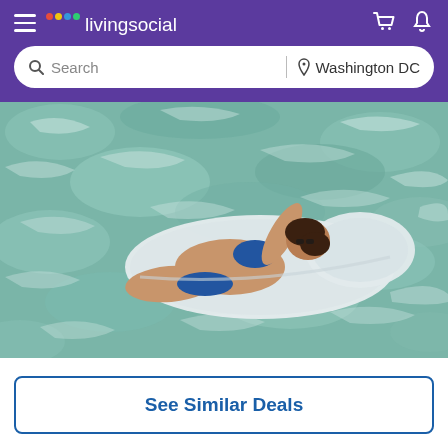livingsocial — Search | Washington DC
[Figure (screenshot): Woman in blue bikini lying on an inflatable pool float in clear turquoise water, viewed from above]
See Similar Deals